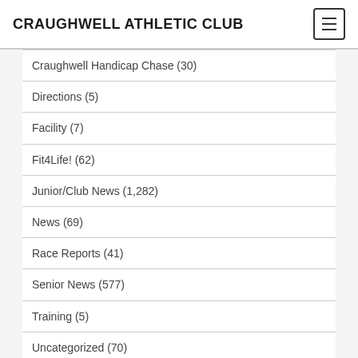CRAUGHWELL ATHLETIC CLUB
Craughwell Handicap Chase (30)
Directions (5)
Facility (7)
Fit4Life! (62)
Junior/Club News (1,282)
News (69)
Race Reports (41)
Senior News (577)
Training (5)
Uncategorized (70)